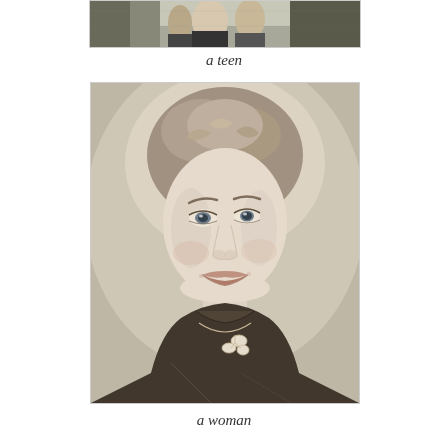[Figure (photo): Partial cropped black and white photo of a group of people outdoors, showing only the lower portion (teens or young people in 1940s-1950s style dress)]
a teen
[Figure (photo): Vintage black and white portrait photograph of a young woman with curly blonde hair, smiling, wearing a dark top and a necklace with a floral brooch or pendant, circa 1940s-1950s style]
a woman